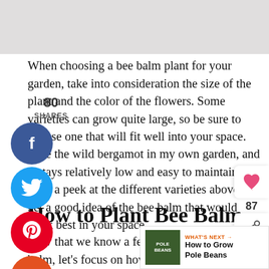[Figure (photo): Gray placeholder image area at top of page]
When choosing a bee balm plant for your garden, take into consideration the size of the plant and the color of the flowers. Some varieties can grow quite large, so be sure to choose one that will fit well into your space.
I use the wild bergamot in my own garden, and it stays relatively low and easy to maintain. Take a peek at the different varieties above to get a good idea of the bee balm that would work best in your space.
How to Plant Bee Balm
Now that we know a few reasons to grow bee balm, let's focus on how to plant it. Bee balm is best planted in the